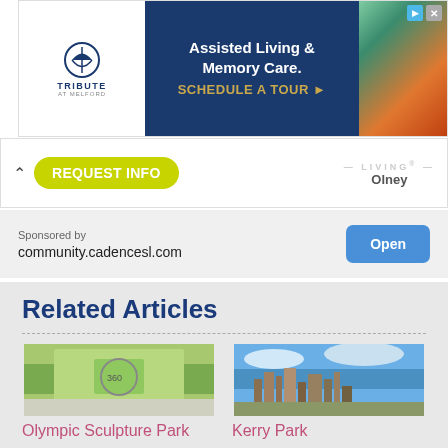[Figure (screenshot): Tribute at Melford advertisement banner for Assisted Living & Memory Care with 'Schedule a Tour' call to action]
[Figure (screenshot): Request Info bar with yellow-green button and Cadence Living Olney branding on the right]
Sponsored by
community.cadencesl.com
Related Articles
[Figure (photo): Aerial/map view of Olympic Sculpture Park]
Olympic Sculpture Park
[Figure (photo): Seattle skyline photo for Kerry Park article]
Kerry Park
[Figure (photo): Partial bottom-left article thumbnail]
[Figure (photo): Partial bottom-right article thumbnail]